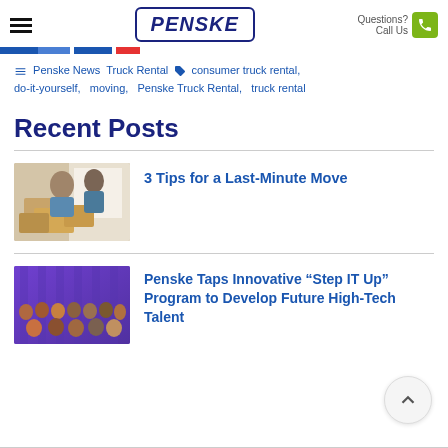PENSKE — Questions? Call Us
Penske News Truck Rental  consumer truck rental, do-it-yourself, moving, Penske Truck Rental, truck rental
Recent Posts
[Figure (photo): Two people smiling with moving boxes]
3 Tips for a Last-Minute Move
[Figure (photo): Group of diverse people posing together on a purple-lit stage]
Penske Taps Innovative “Step IT Up” Program to Develop Future High-Tech Talent